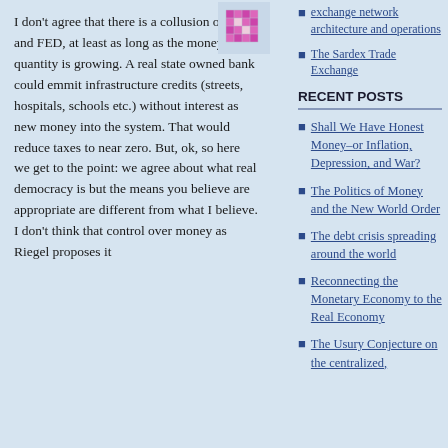I don't agree that there is a collusion of state and FED, at least as long as the money quantity is growing. A real state owned bank could emmit infrastructure credits (streets, hospitals, schools etc.) without interest as new money into the system. That would reduce taxes to near zero. But, ok, so here we get to the point: we agree about what real democracy is but the means you believe are appropriate are different from what I believe. I don't think that control over money as Riegel proposes it
[Figure (illustration): Small pixel-art avatar image with pink/magenta grid pattern]
exchange network architecture and operations
The Sardex Trade Exchange
RECENT POSTS
Shall We Have Honest Money–or Inflation, Depression, and War?
The Politics of Money and the New World Order
The debt crisis spreading around the world
Reconnecting the Monetary Economy to the Real Economy
The Usury Conjecture on the centralized,